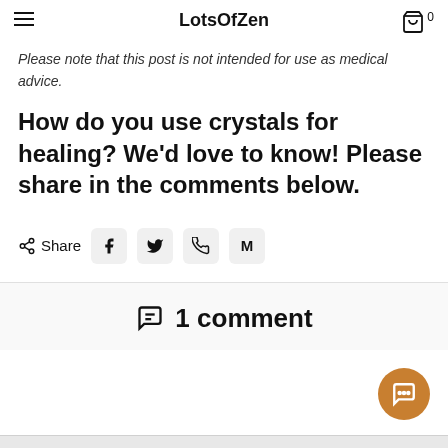LotsOfZen
Please note that this post is not intended for use as medical advice.
How do you use crystals for healing? We'd love to know! Please share in the comments below.
Share [Facebook] [Twitter] [WhatsApp] [Gmail]
1 comment